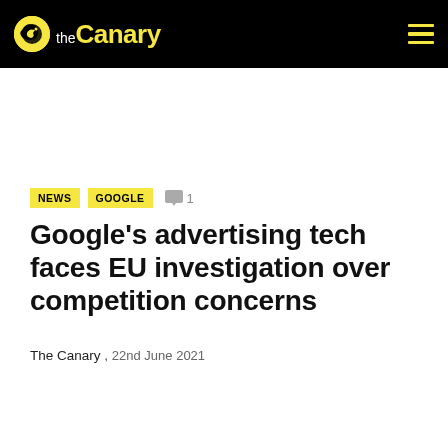the Canary
NEWS  GOOGLE  💬 1
Google's advertising tech faces EU investigation over competition concerns
The Canary , 22nd June 2021